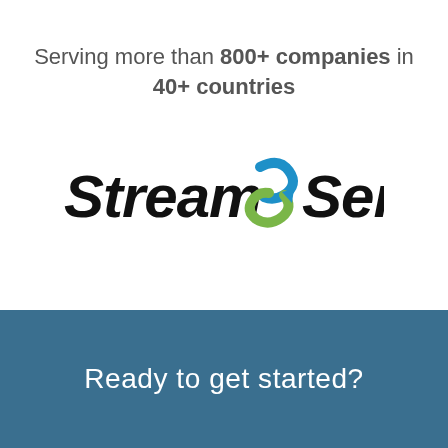Serving more than 800+ companies in 40+ countries
[Figure (logo): StreamSend logo with blue and green arrow icon between 'Stream' and 'Send' in bold black italic text]
Ready to get started?